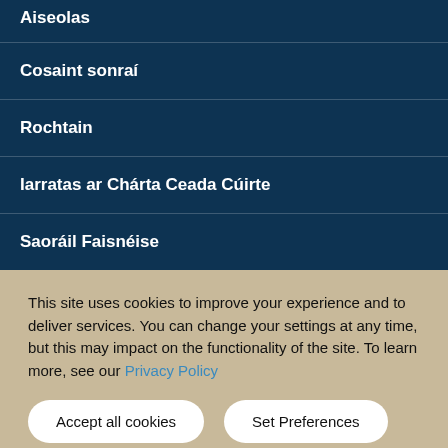Aiseolas
Cosaint sonraí
Rochtain
Iarratas ar Chárta Ceada Cúirte
Saoráil Faisnéise
This site uses cookies to improve your experience and to deliver services. You can change your settings at any time, but this may impact on the functionality of the site. To learn more, see our Privacy Policy
Accept all cookies | Set Preferences